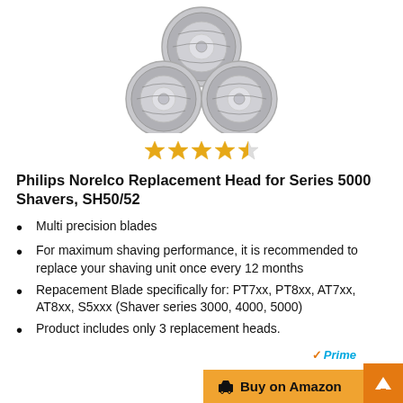[Figure (photo): Three silver electric shaver replacement heads arranged in a triangular formation, metallic and circular with mesh cutting surfaces.]
[Figure (other): Star rating showing approximately 4.5 out of 5 stars in gold/yellow color.]
Philips Norelco Replacement Head for Series 5000 Shavers, SH50/52
Multi precision blades
For maximum shaving performance, it is recommended to replace your shaving unit once every 12 months
Repacement Blade specifically for: PT7xx, PT8xx, AT7xx, AT8xx, S5xxx (Shaver series 3000, 4000, 5000)
Product includes only 3 replacement heads.
✓Prime
🛒 Buy on Amazon